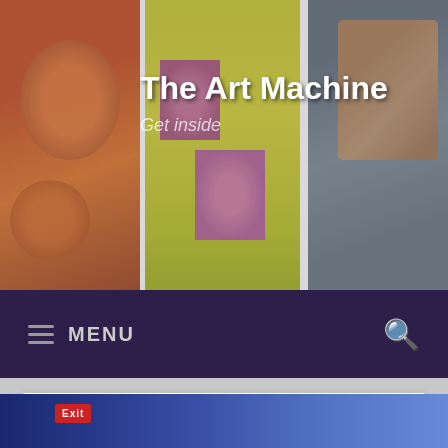[Figure (photo): Hero banner with colorful pop-art style images: orange floral artwork on left, yellow/green background with pink animal figures in center, gray botanical art on right]
The Art Machine
Get inside
≡ MENU
Sarah Sze and Jean Shin:
Going Your Way
Privacy & Cookies: This site uses cookies. By continuing to use this website, you agree to their use.
To find out more, including how to control cookies, see here: Cookie Policy
Close and accept
[Figure (photo): Bottom strip showing blue-toned artwork with Exit sign visible]